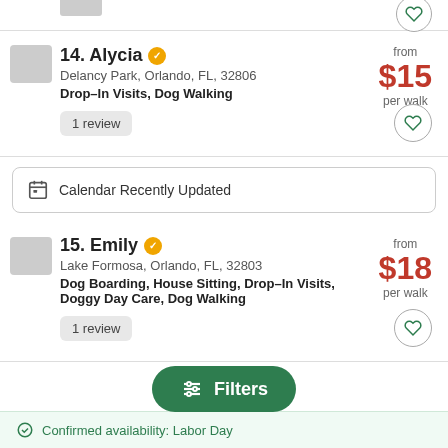14. Alycia — Delancy Park, Orlando, FL, 32806 — Drop-In Visits, Dog Walking — 1 review — from $15 per walk
15. Emily — Lake Formosa, Orlando, FL, 32803 — Dog Boarding, House Sitting, Drop-In Visits, Doggy Day Care, Dog Walking — 1 review — from $18 per walk
Calendar Recently Updated
Filters
Confirmed availability: Labor Day